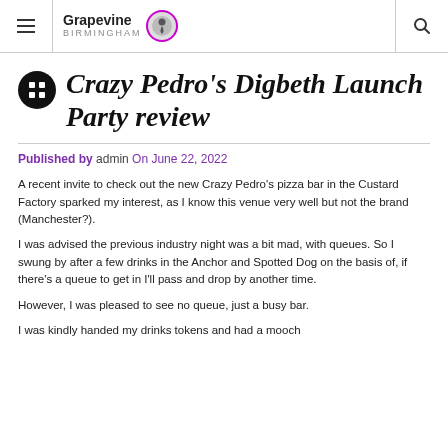Grapevine Birmingham
Crazy Pedro's Digbeth Launch Party review
Published by admin On June 22, 2022
A recent invite to check out the new Crazy Pedro's pizza bar in the Custard Factory sparked my interest, as I know this venue very well but not the brand (Manchester?).
I was advised the previous industry night was a bit mad, with queues. So I swung by after a few drinks in the Anchor and Spotted Dog on the basis of, if there's a queue to get in I'll pass and drop by another time.
However, I was pleased to see no queue, just a busy bar.
I was kindly handed my drinks tokens and had a mooch